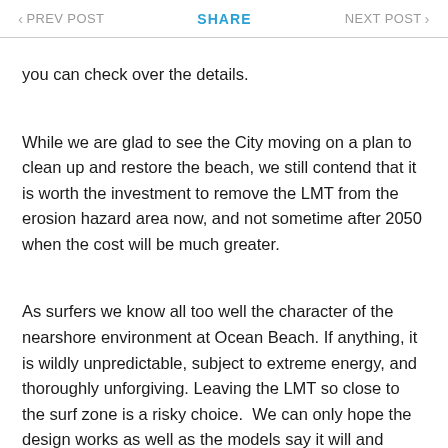< PREV POST   SHARE   NEXT POST >
you can check over the details.
While we are glad to see the City moving on a plan to clean up and restore the beach, we still contend that it is worth the investment to remove the LMT from the erosion hazard area now, and not sometime after 2050 when the cost will be much greater.
As surfers we know all too well the character of the nearshore environment at Ocean Beach. If anything, it is wildly unpredictable, subject to extreme energy, and thoroughly unforgiving. Leaving the LMT so close to the surf zone is a risky choice.  We can only hope the design works as well as the models say it will and preserves